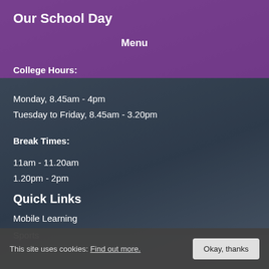Our School Day
Menu
College Hours:
Monday, 8.45am - 4pm
Tuesday to Friday, 8.45am - 3.20pm
Break Times:
11am - 11.20am
1.20pm - 2pm
Quick Links
Mobile Learning
Sports
This site uses cookies: Find out more. Okay, thanks